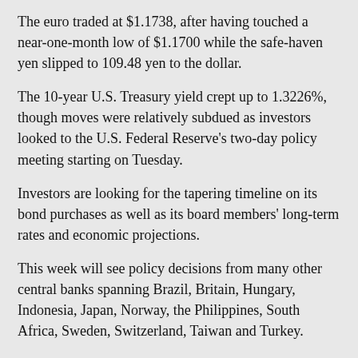The euro traded at $1.1738, after having touched a near-one-month low of $1.1700 while the safe-haven yen slipped to 109.48 yen to the dollar.
The 10-year U.S. Treasury yield crept up to 1.3226%, though moves were relatively subdued as investors looked to the U.S. Federal Reserve's two-day policy meeting starting on Tuesday.
Investors are looking for the tapering timeline on its bond purchases as well as its board members' long-term rates and economic projections.
This week will see policy decisions from many other central banks spanning Brazil, Britain, Hungary, Indonesia, Japan, Norway, the Philippines, South Africa, Sweden, Switzerland, Taiwan and Turkey.
Oil prices also rebounded a tad in Asia after falling the previous day. U.S. crude futures traded at $70.90 per barrel.
Wobbling cryptocurrencies also found a floor, with bitcoin bouncing from a 1 1/2-month low of $40,193 to trade just shy of $43,000.